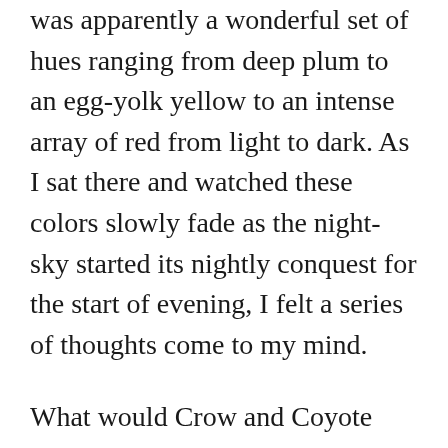was apparently a wonderful set of hues ranging from deep plum to an egg-yolk yellow to an intense array of red from light to dark. As I sat there and watched these colors slowly fade as the night-sky started its nightly conquest for the start of evening, I felt a series of thoughts come to my mind.
What would Crow and Coyote and Abnoba think of me after today? There were several moments where I nearly lost my temper. Quick trips to the “restroom” allowed me to cool off sufficiently to not do so.